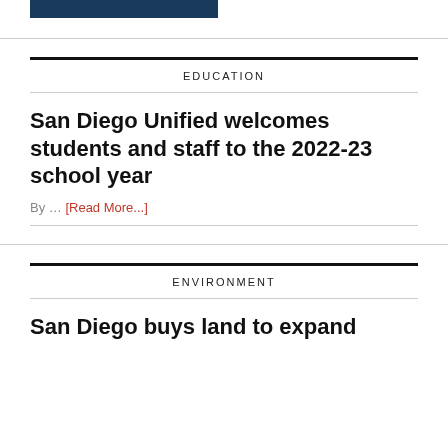[Figure (other): Partial top banner image in dark navy blue, cropped at top of page]
EDUCATION
San Diego Unified welcomes students and staff to the 2022-23 school year
By … [Read More...]
ENVIRONMENT
San Diego buys land to expand